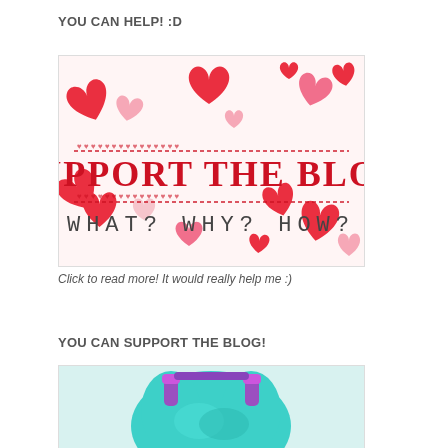YOU CAN HELP! :D
[Figure (illustration): Decorative blog support banner with scattered red and pink paper hearts on white background. Bold red text reads 'SUPPORT THE BLOG' with decorative border lines above and below. Below that in dark gray spaced letters: 'WHAT? WHY? HOW?']
Click to read more! It would really help me :)
YOU CAN SUPPORT THE BLOG!
[Figure (photo): Partial photo of a Hatsune Miku anime figure with teal/cyan hair and a purple/pink headset accessory, cropped at the bottom of the page.]